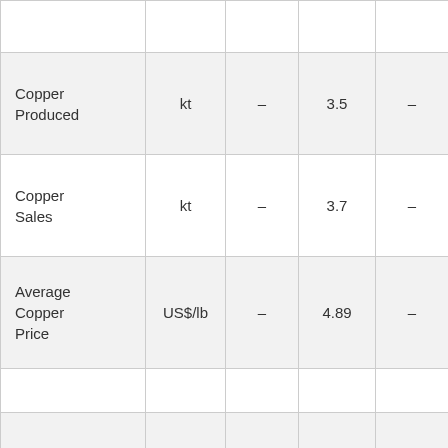|  |  |  |  |  |
| Copper Produced | kt | – | 3.5 | – |
| Copper Sales | kt | – | 3.7 | – |
| Average Copper Price | US$/lb | – | 4.89 | – |
|  |  |  |  |  |
|  |  |  |  |  |